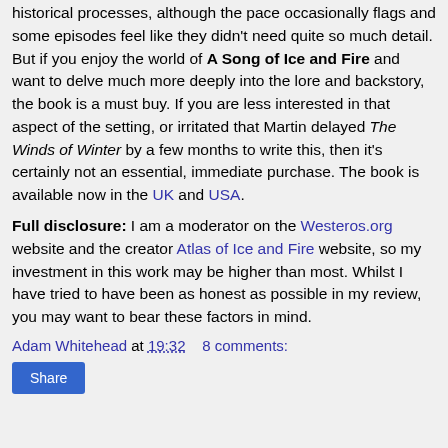historical processes, although the pace occasionally flags and some episodes feel like they didn't need quite so much detail. But if you enjoy the world of A Song of Ice and Fire and want to delve much more deeply into the lore and backstory, the book is a must buy. If you are less interested in that aspect of the setting, or irritated that Martin delayed The Winds of Winter by a few months to write this, then it's certainly not an essential, immediate purchase. The book is available now in the UK and USA.
Full disclosure: I am a moderator on the Westeros.org website and the creator Atlas of Ice and Fire website, so my investment in this work may be higher than most. Whilst I have tried to have been as honest as possible in my review, you may want to bear these factors in mind.
Adam Whitehead at 19:32   8 comments:
Share